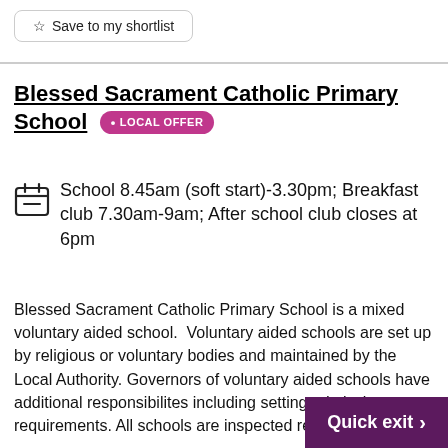Save to my shortlist
Blessed Sacrament Catholic Primary School • LOCAL OFFER
School 8.45am (soft start)-3.30pm; Breakfast club 7.30am-9am; After school club closes at 6pm
Blessed Sacrament Catholic Primary School is a mixed voluntary aided school. Voluntary aided schools are set up by religious or voluntary bodies and maintained by the Local Authority. Governors of voluntary aided schools have additional responsibilites including setting admission requirements. All schools are inspected regularly by...
Quick exit >